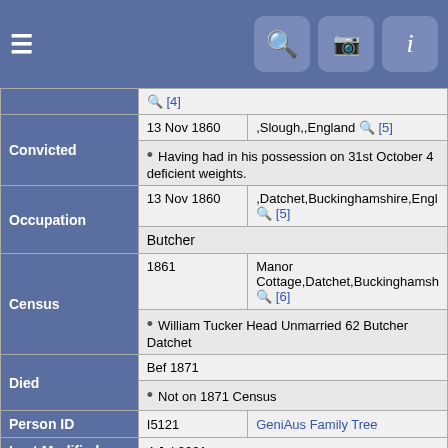[Figure (screenshot): Navigation bar with hamburger menu icon and search, camera, info icons on blue background]
| Field | Date | Details |
| --- | --- | --- |
|  |  | 🔍 [4] |
| Convicted | 13 Nov 1860 | ,Slough,,England 🔍 [5] |
|  |  | Having had in his possession on 31st October 4 deficient weights. |
| Occupation | 13 Nov 1860 | ,Datchet,Buckinghamshire,England 🔍 [5] |
|  |  | Butcher |
| Census | 1861 | Manor Cottage,Datchet,Buckinghamshire 🔍 [6] |
|  |  | William Tucker Head Unmarried 62 Butcher Datchet |
| Died | Bef 1871 |  |
|  |  | Not on 1871 Census |
| Person ID | I5121 | GeniAus Family Tree |
| Last Modified | 4 Jul 2021 |  |
| Field | Details |
| --- | --- |
| Father | Tucker William,  b. Abt 1770, ,,,England,  d. 3 Aug 1852 |